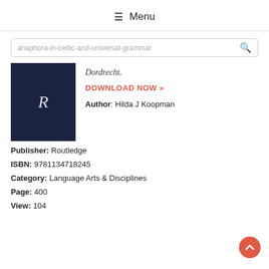☰ Menu
anaphora-in-celtic-and-universal-grammar
[Figure (illustration): Book cover with dark navy background and stylized letter R in white italic]
Dordrecht.
DOWNLOAD NOW »
Author: Hilda J Koopman
Publisher: Routledge
ISBN: 9781134718245
Category: Language Arts & Disciplines
Page: 400
View: 104